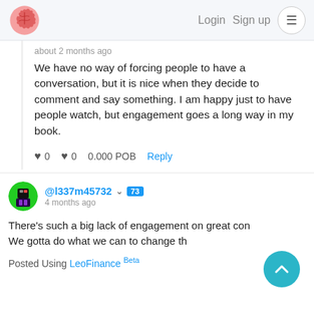Login  Sign up  ☰
about 2 months ago
We have no way of forcing people to have a conversation, but it is nice when they decide to comment and say something. I am happy just to have people watch, but engagement goes a long way in my book.
0  0  0.000 POB  Reply
@l337m45732  73  4 months ago
There's such a big lack of engagement on great con... We gotta do what we can to change th...
Posted Using LeoFinance Beta